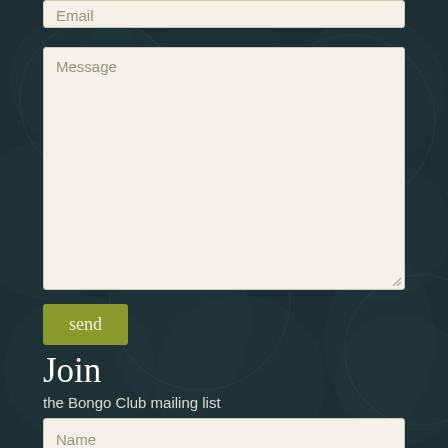[Figure (screenshot): Web contact form UI with dark teal background featuring decorative pattern. Contains: partially visible Email input field at top, Message textarea, send button (olive/yellow-green), Join the Bongo Club mailing list section with Name and Email address fields, sign up button (olive), and SHOP button (red with shopping cart icon).]